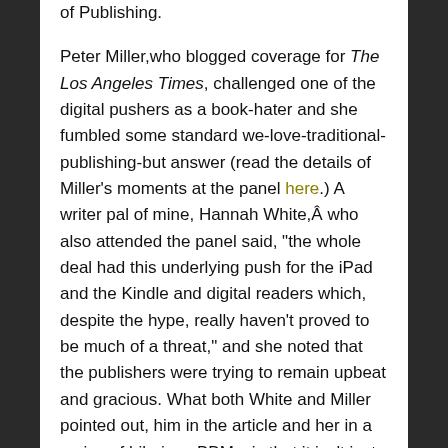of Publishing. Peter Miller,who blogged coverage for The Los Angeles Times, challenged one of the digital pushers as a book-hater and she fumbled some standard we-love-traditional-publishing-but answer (read the details of Miller's moments at the panel here.) A writer pal of mine, Hannah White,Â who also attended the panel said, "the whole deal had this underlying push for the iPad and the Kindle and digital readers which, despite the hype, really haven't proved to be much of a threat," and she noted that the publishers were trying to remain upbeat and gracious. What both White and Miller pointed out, him in the article and her in a series of hilarious BBMs, is that it isn't just the actual format we read things in that it is changing, but also the ways books and authors